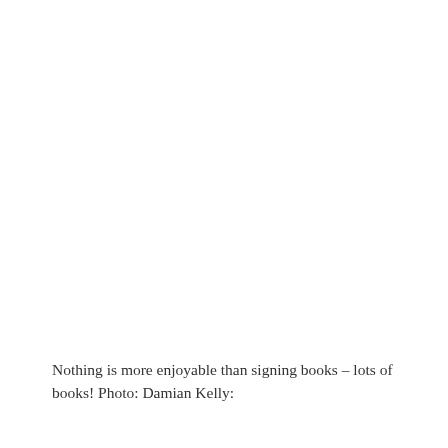Nothing is more enjoyable than signing books – lots of books! Photo: Damian Kelly: